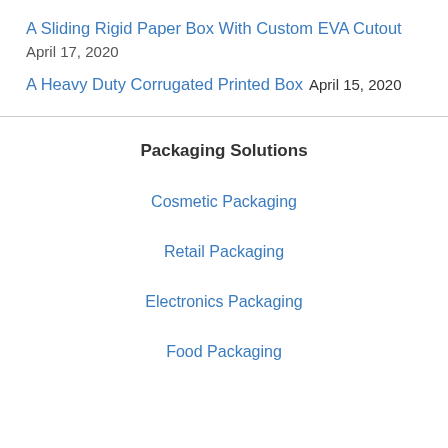A Sliding Rigid Paper Box With Custom EVA Cutout
April 17, 2020
A Heavy Duty Corrugated Printed Box April 15, 2020
Packaging Solutions
Cosmetic Packaging
Retail Packaging
Electronics Packaging
Food Packaging